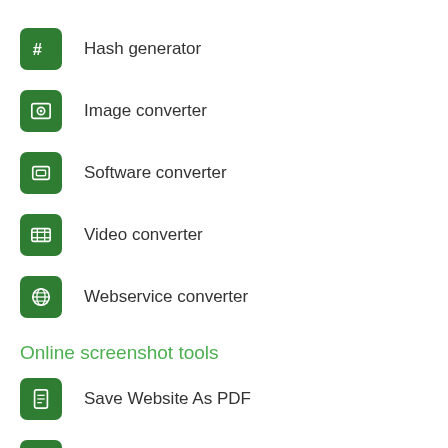Hash generator
Image converter
Software converter
Video converter
Webservice converter
Online screenshot tools
Save Website As PDF
Screenshot Website as JPG